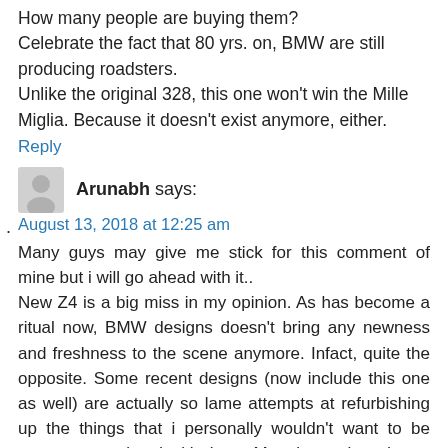How many people are buying them?
Celebrate the fact that 80 yrs. on, BMW are still producing roadsters.
Unlike the original 328, this one won't win the Mille Miglia. Because it doesn't exist anymore, either.
Reply
Arunabh says:
August 13, 2018 at 12:25 am
Many guys may give me stick for this comment of mine but i will go ahead with it..
New Z4 is a big miss in my opinion. As has become a ritual now, BMW designs doesn't bring any newness and freshness to the scene anymore. Infact, quite the opposite. Some recent designs (now include this one as well) are actually so lame attempts at refurbishing up the things that i personally wouldn't want to be seen or associated with them. Most lesser brands are putting far more honest efforts and are coming up with much nicer and interesting things. I follow the progress of quite a few other brands too and compared to them, BMW seems to be on the nap. It appears that they don't have any idea